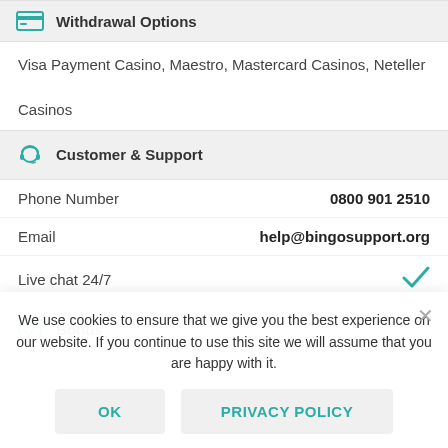Withdrawal Options
Visa Payment Casino, Maestro, Mastercard Casinos, Neteller Casinos
Customer & Support
|  |  |
| --- | --- |
| Phone Number | 0800 901 2510 |
| Email | help@bingosupport.org |
| Live chat 24/7 | ✓ |
Bonus
We use cookies to ensure that we give you the best experience on our website. If you continue to use this site we will assume that you are happy with it.